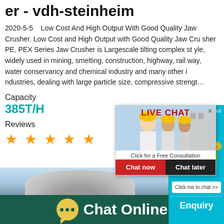er - vdh-steinheim
2020-5-5   Low Cost And High Output With Good Quality Jaw Crusher. Low Cost and High Output with Good Quality Jaw Crusher PE, PEX Series Jaw Crusher is Largescale tilting complex style, widely used in mining, smelting, construction, highway, railway, water conservancy and chemical industry and many other industries, dealing with large particle size, compressive strengt…
Capacity
385T/H
Reviews
[Figure (screenshot): Five orange star rating icons]
[Figure (screenshot): Live chat popup with workers wearing yellow hard hats, LIVE CHAT text in red, 'Click for a Free Consultation' subtitle, Chat now (red) and Chat later (dark) buttons]
[Figure (screenshot): Right panel: teal/cyan satisfaction gauge widget with emoji faces and 'Click me to chat >>' button, and Enquiry label at bottom]
[Figure (photo): Industrial equipment photo strip - light blue sky and industrial machinery]
Chat Online